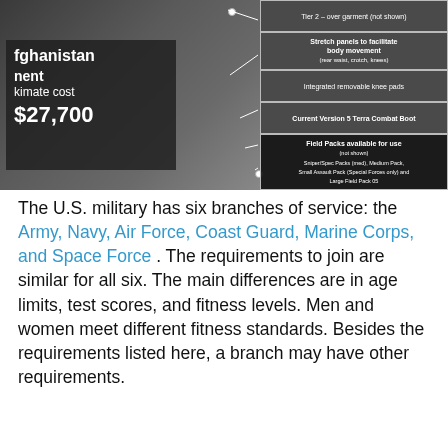[Figure (infographic): Military uniform infographic showing a soldier in tactical gear with callout boxes on the right identifying: Tier 2 - over garment (not shown), Stretch panels to facilitate body movement (rear waist, crotch, knees), Integrated removable knee pads, Current Version 5 Terra Combat Boot, Field Packs available for use. Overlay on left shows Afghanistan deployment equipment approximate cost $27,700.]
The U.S. military has six branches of service: the Army, Navy, Air Force, Coast Guard, Marine Corps, and Space Force. The requirements to join are similar for all six. The main differences are in age limits, test scores, and fitness levels. Men and women meet different fitness standards. Besides the requirements listed here, a branch may have other requirements.